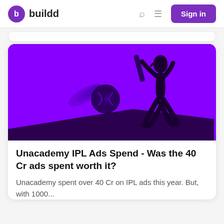buildd — Sign in
[Figure (illustration): Purple background banner with a cricket batsman silhouette on the right swinging a bat, and a flaming cricket ball on the left, dark stylized illustration on purple/violet background]
Unacademy IPL Ads Spend - Was the 40 Cr ads spent worth it?
Unacademy spent over 40 Cr on IPL ads this year. But, with 1000...